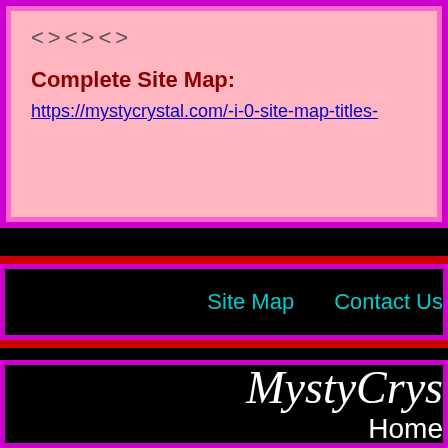<><><>
Complete Site Map:
https://mystycrystal.com/-i-0-site-map-titles-
Site Map    Contact Us
MystyCrys
Home